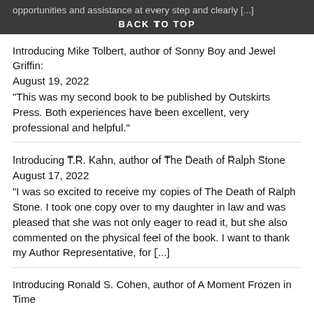opportunities and assistance at every step and clearly […]
BACK TO TOP
Introducing Mike Tolbert, author of Sonny Boy and Jewel Griffin:
August 19, 2022
"This was my second book to be published by Outskirts Press. Both experiences have been excellent, very professional and helpful."
Introducing T.R. Kahn, author of The Death of Ralph Stone
August 17, 2022
"I was so excited to receive my copies of The Death of Ralph Stone. I took one copy over to my daughter in law and was pleased that she was not only eager to read it, but she also commented on the physical feel of the book. I want to thank my Author Representative, for […]
Introducing Ronald S. Cohen, author of A Moment Frozen in Time